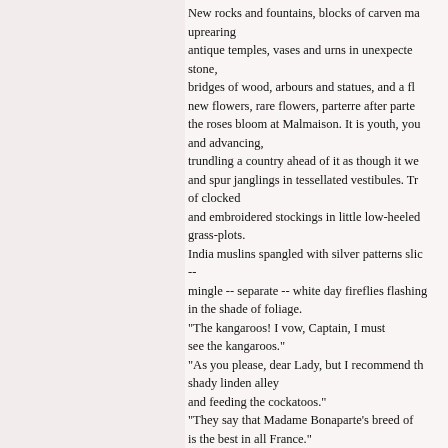New rocks and fountains, blocks of carven ma uprearing antique temples, vases and urns in unexpecte stone, bridges of wood, arbours and statues, and a fl new flowers, rare flowers, parterre after parte the roses bloom at Malmaison. It is youth, you and advancing, trundling a country ahead of it as though it we and spur janglings in tessellated vestibules. Tr of clocked and embroidered stockings in little low-heeled grass-plots. India muslins spangled with silver patterns sli -- mingle -- separate -- white day fireflies flashing in the shade of foliage. "The kangaroos! I vow, Captain, I must see the kangaroos." "As you please, dear Lady, but I recommend th shady linden alley and feeding the cockatoos." "They say that Madame Bonaparte's breed of is the best in all France." "And, oh, have you seen the enchanting little c she planted when the First Consul sent home the news of Picking, choosing, the chattering company flits to and fro. Over the trees the great clouds go, tiered, stately, like ships c